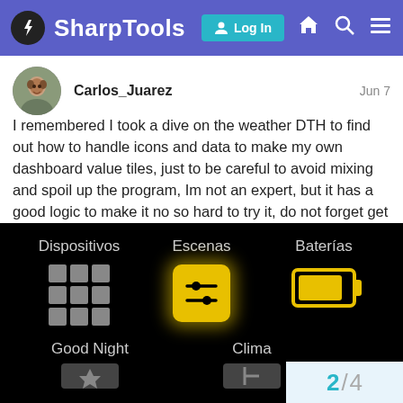SharpTools — Log In
Carlos_Juarez  Jun 7
I remembered I took a dive on the weather DTH to find out how to handle icons and data to make my own dashboard value tiles, just to be careful to avoid mixing and spoil up the program, Im not an expert, but it has a good logic to make it no so hard to try it, do not forget get backups if something goes wrong …good luck !
[Figure (screenshot): Dashboard screenshot showing tiles: Dispositivos (grid icon), Escenas (yellow sliders icon with glow), Baterías (yellow battery icon), Good Night, Clima tiles on a black background. Page indicator 2/4 in bottom right.]